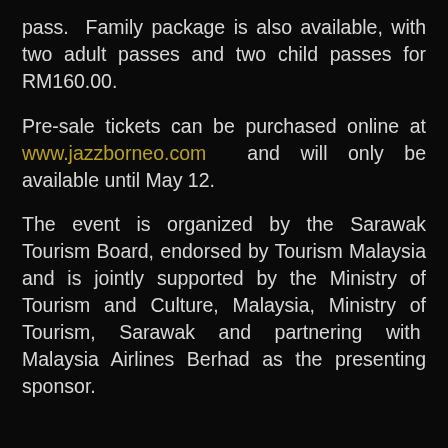pass.  Family package is also available, with two adult passes and two child passes for RM160.00.
Pre-sale tickets can be purchased online at www.jazzborneo.com and will only be available until May 12.
The event is organized by the Sarawak Tourism Board, endorsed by Tourism Malaysia and is jointly supported by the Ministry of Tourism and Culture, Malaysia, Ministry of Tourism, Sarawak and partnering with Malaysia Airlines Berhad as the presenting sponsor.